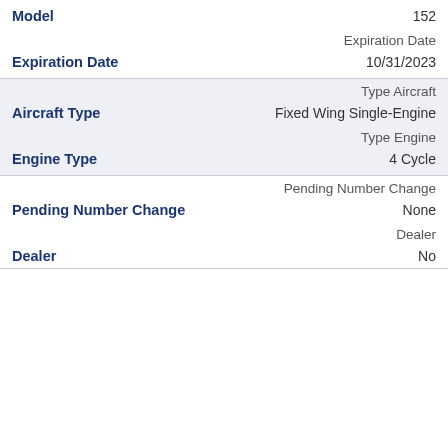| Field | Value |
| --- | --- |
| Model | 152 |
| Expiration Date (label) | Expiration Date |
| Expiration Date | 10/31/2023 |
| Type Aircraft (label) | Type Aircraft |
| Aircraft Type | Fixed Wing Single-Engine |
| Type Engine (label) | Type Engine |
| Engine Type | 4 Cycle |
| Pending Number Change (label) | Pending Number Change |
| Pending Number Change | None |
| Dealer (label) | Dealer |
| Dealer | No |